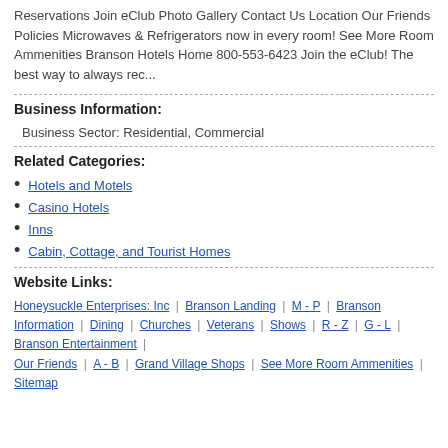Reservations Join eClub Photo Gallery Contact Us Location Our Friends Policies Microwaves & Refrigerators now in every room! See More Room Ammenities Branson Hotels Home 800-553-6423 Join the eClub! The best way to always rec...
Business Information:
Business Sector: Residential, Commercial
Related Categories:
Hotels and Motels
Casino Hotels
Inns
Cabin, Cottage, and Tourist Homes
Website Links:
Honeysuckle Enterprises: Inc | Branson Landing | M - P | Branson Information | Dining | Churches | Veterans | Shows | R - Z | G - L | Branson Entertainment | Our Friends | A - B | Grand Village Shops | See More Room Ammenities | Sitemap